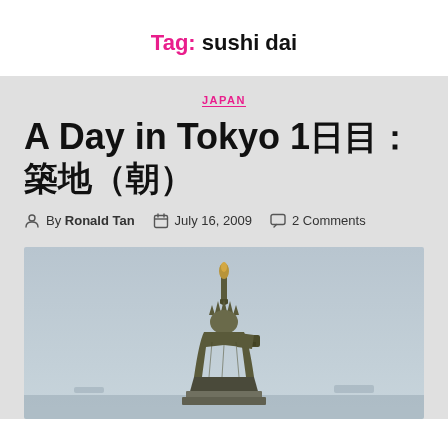Tag: sushi dai
JAPAN
A Day in Tokyo 1日目：築地（朝）
By Ronald Tan  July 16, 2009  2 Comments
[Figure (photo): Statue of Liberty replica photo, light blue-grey sky background]